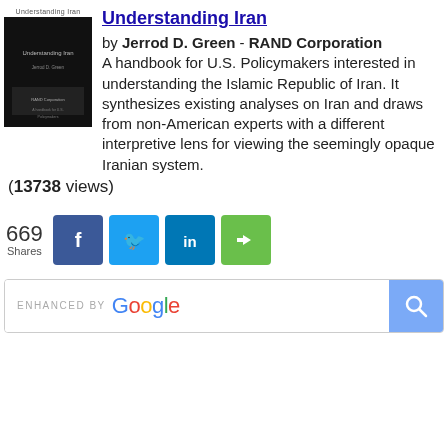Understanding Iran
by Jerrod D. Green - RAND Corporation
A handbook for U.S. Policymakers interested in understanding the Islamic Republic of Iran. It synthesizes existing analyses on Iran and draws from non-American experts with a different interpretive lens for viewing the seemingly opaque Iranian system.
(13738 views)
[Figure (other): Book cover thumbnail for 'Understanding Iran' showing dark/black cover design]
669 Shares — social share buttons: Facebook, Twitter, LinkedIn, ShareThis
[Figure (screenshot): Google search bar with 'ENHANCED BY Google' label and search button]